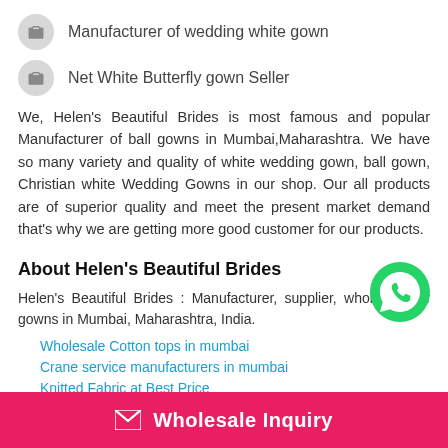Manufacturer of wedding white gown
Net White Butterfly gown Seller
We, Helen's Beautiful Brides is most famous and popular Manufacturer of ball gowns in Mumbai,Maharashtra. We have so many variety and quality of white wedding gown, ball gown, Christian white Wedding Gowns in our shop. Our all products are of superior quality and meet the present market demand that's why we are getting more good customer for our products.
About Helen's Beautiful Brides
Helen's Beautiful Brides : Manufacturer, supplier, wholesaler of gowns in Mumbai, Maharashtra, India.
Wholesale Cotton tops in mumbai
Crane service manufacturers in mumbai
Knitted Fabric at Best Price
Wholesale Inquiry